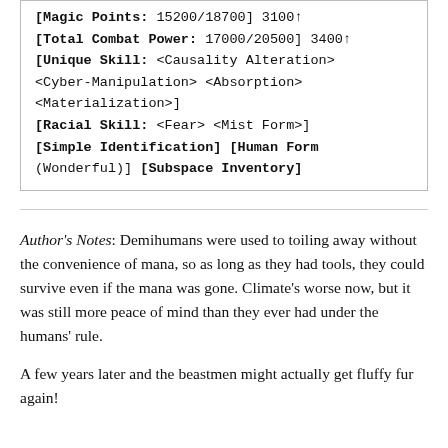[Magic Points: 15200/18700] 3100↑
[Total Combat Power: 17000/20500] 3400↑
[Unique Skill: <Causality Alteration> <Cyber-Manipulation> <Absorption> <Materialization>]
[Racial Skill: <Fear> <Mist Form>]
[Simple Identification] [Human Form (Wonderful)] [Subspace Inventory]
Author's Notes: Demihumans were used to toiling away without the convenience of mana, so as long as they had tools, they could survive even if the mana was gone. Climate's worse now, but it was still more peace of mind than they ever had under the humans' rule.
A few years later and the beastmen might actually get fluffy fur again!